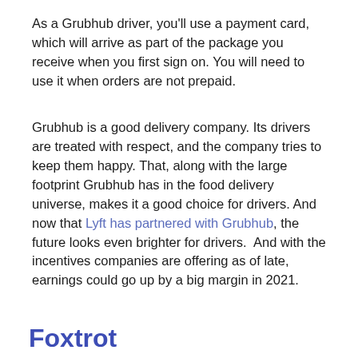As a Grubhub driver, you'll use a payment card, which will arrive as part of the package you receive when you first sign on. You will need to use it when orders are not prepaid.
Grubhub is a good delivery company. Its drivers are treated with respect, and the company tries to keep them happy. That, along with the large footprint Grubhub has in the food delivery universe, makes it a good choice for drivers. And now that Lyft has partnered with Grubhub, the future looks even brighter for drivers.  And with the incentives companies are offering as of late, earnings could go up by a big margin in 2021.
Foxtrot